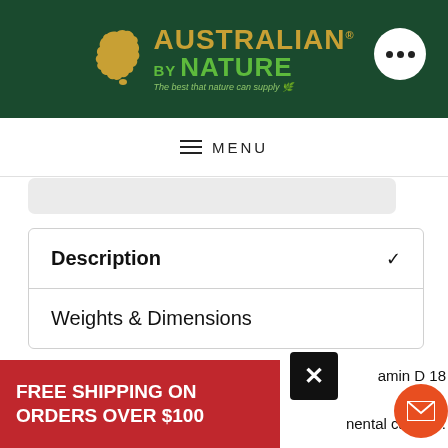[Figure (logo): Australian by Nature logo with Australia map silhouette in gold, green text, tagline 'The best that nature can supply']
≡  MENU
Description ✓
Weights & Dimensions
Description
FREE SHIPPING ON ORDERS OVER $100
amin D 18...
nental calcium.